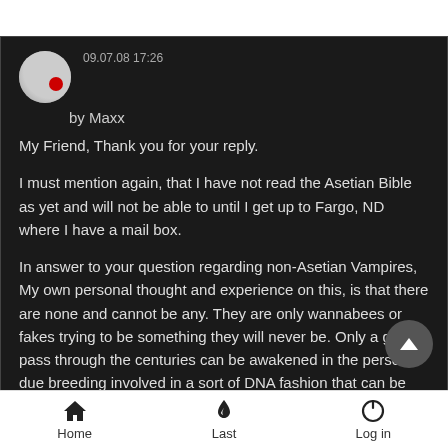09.07.08 17:26
by Maxx
My Friend, Thank you for your reply.
I must mention again, that I have not read the Asetian Bible as yet and will not be able to until I get up to Fargo, ND where I have a mail box.
In answer to your question regarding non-Asetian Vampires, My own personal thought and experience on this, is that there are none and cannot be any. They are only wannabees or fakes trying to be something they will never be. Only a gene pass through the centuries can be awakened in the person due breeding involved in a sort of DNA fashion that can be
Home   Last   Log in